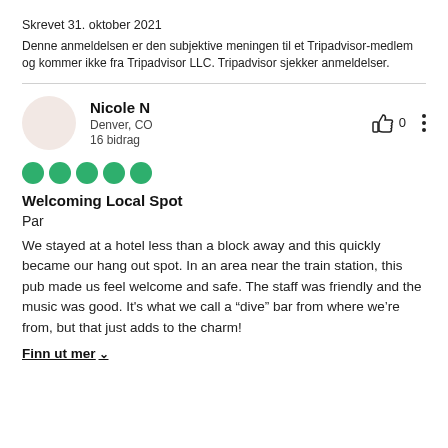Skrevet 31. oktober 2021
Denne anmeldelsen er den subjektive meningen til et Tripadvisor-medlem og kommer ikke fra Tripadvisor LLC. Tripadvisor sjekker anmeldelser.
Nicole N
Denver, CO
16 bidrag
👍 0
[Figure (other): Five green filled circles representing a 5-star rating]
Welcoming Local Spot
Par
We stayed at a hotel less than a block away and this quickly became our hang out spot. In an area near the train station, this pub made us feel welcome and safe. The staff was friendly and the music was good. It's what we call a “dive” bar from where we’re from, but that just adds to the charm!
Finn ut mer